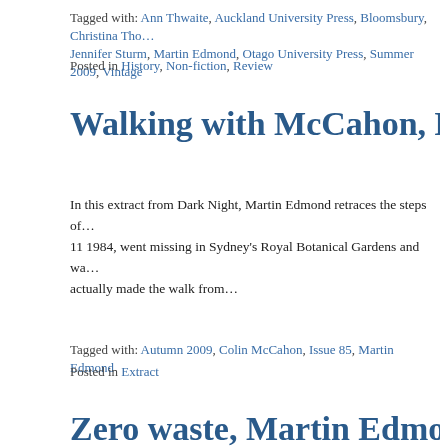Tagged with: Ann Thwaite, Auckland University Press, Bloomsbury, Christina Tho… Jennifer Sturm, Martin Edmond, Otago University Press, Summer 2009, Vintage
Posted in History, Non-fiction, Review
Walking with McCahon, Martin E…
In this extract from Dark Night, Martin Edmond retraces the steps of… 11 1984, went missing in Sydney's Royal Botanical Gardens and wa… actually made the walk from…
Tagged with: Autumn 2009, Colin McCahon, Issue 85, Martin Edmond
Posted in Extract
Zero waste, Martin Edmond
Into the Wider World: A Back Country Miscellany Brian Turner Godw… 9781869621421 Near the beginning of the seventh of the 34 essays… Brian Turner, full of teenage angst and contemplating suicide, is sitti…
Tagged with: Brian Turner, Godwit, Issue 84, Martin Edmond, Summer 2008